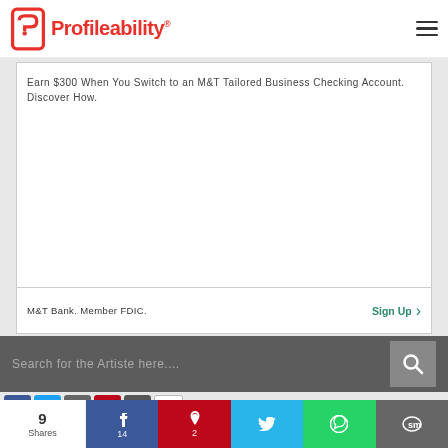Profileability
Earn $300 When You Switch to an M&T Tailored Business Checking Account. Discover How.
M&T Bank. Member FDIC.
Sign Up
Search for the Artiste here....
3
[Figure (photo): Colorful artistic image with red, yellow, teal colors, music theme with letter F and headphones]
9 Shares
14
2